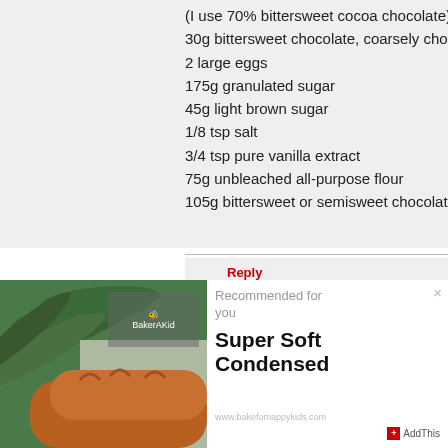(I use 70% bittersweet cocoa chocolate)
30g bittersweet chocolate, coarsely chopped (I u
2 large eggs
175g granulated sugar
45g light brown sugar
1/8 tsp salt
3/4 tsp pure vanilla extract
75g unbleached all-purpose flour
105g bittersweet or semisweet chocolate, coars
Reply
[Figure (photo): Photo of bread loaf with fern plant in background, with overlay logo 'BakerAKid']
Recommended for you
Super Soft Condensed
www.bakefomappykids.com
AddThis